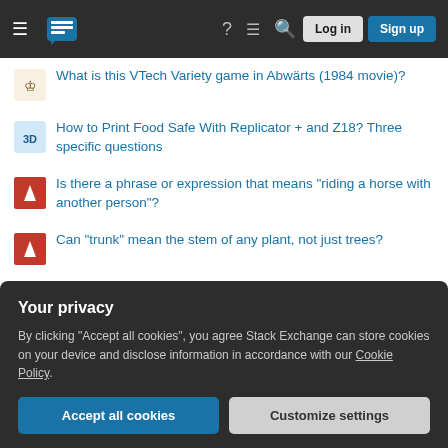Stack Exchange navigation bar with Log in and Sign up buttons
What is this VTech Variety game in Abwärts (1984 movie)?
How to Print Food Safe With Replicator + and Z18? Three specific questions
Is there a phrase or expression that means "riding a horse with another person"?
Can "trunk" mean the stem of any plant, not just trees?
How will Canada customs treat shipped luggage?
Evaluating Pfaffian
How bad would a leaked tax return be?
How do weapons work?
Your privacy
By clicking "Accept all cookies", you agree Stack Exchange can store cookies on your device and disclose information in accordance with our Cookie Policy.
Accept all cookies | Customize settings